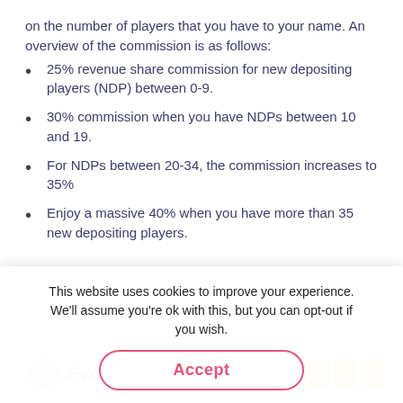on the number of players that you have to your name. An overview of the commission is as follows:
25% revenue share commission for new depositing players (NDP) between 0-9.
30% commission when you have NDPs between 10 and 19.
For NDPs between 20-34, the commission increases to 35%
Enjoy a massive 40% when you have more than 35 new depositing players.
[Figure (screenshot): Two partially visible website cards/widgets at the bottom of the page content area, partially obscured by the cookie banner.]
This website uses cookies to improve your experience. We'll assume you're ok with this, but you can opt-out if you wish.
Accept